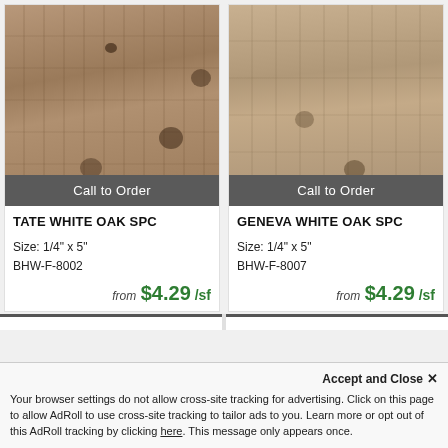[Figure (photo): Close-up photo of Tate White Oak SPC flooring showing wood grain texture with dark knots, warm brown tones]
Call to Order
TATE WHITE OAK SPC
Size: 1/4" x 5"
BHW-F-8002
from $4.29 /sf
[Figure (photo): Close-up photo of Geneva White Oak SPC flooring showing wood grain texture with lighter, cooler grey-brown tones]
Call to Order
GENEVA WHITE OAK SPC
Size: 1/4" x 5"
BHW-F-8007
from $4.29 /sf
Accept and Close ✕
Your browser settings do not allow cross-site tracking for advertising. Click on this page to allow AdRoll to use cross-site tracking to tailor ads to you. Learn more or opt out of this AdRoll tracking by clicking here. This message only appears once.